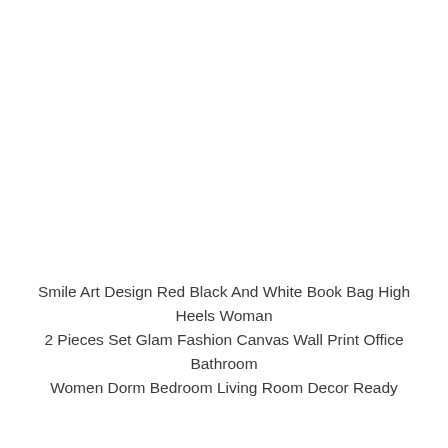Smile Art Design Red Black And White Book Bag High Heels Woman 2 Pieces Set Glam Fashion Canvas Wall Print Office Bathroom Women Dorm Bedroom Living Room Decor Ready